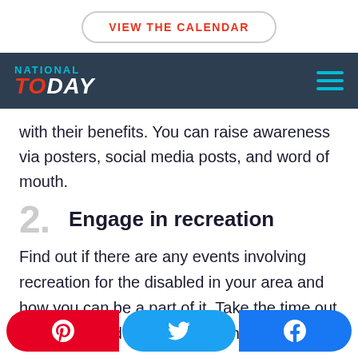VIEW THE CALENDAR
NATIONAL TODAY
with their benefits. You can raise awareness via posters, social media posts, and word of mouth.
2. Engage in recreation
Find out if there are any events involving recreation for the disabled in your area and how you can be a part of it. Take the time out to get involved and help out where
Pinterest, Twitter, Facebook social share buttons